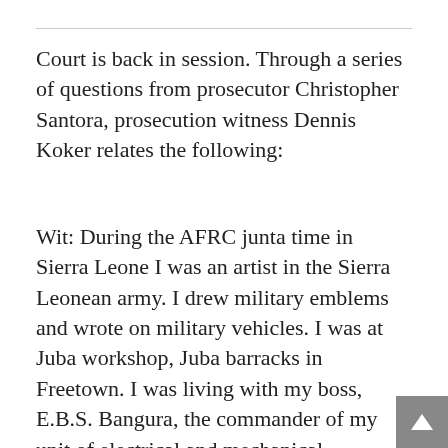Court is back in session.  Through a series of questions from prosecutor Christopher Santora, prosecution witness Dennis Koker relates the following:
Wit: During the AFRC junta time in Sierra Leone I was an artist in the Sierra Leonean army.  I drew military emblems and wrote on military vehicles.  I was at Juba workshop, Juba barracks in Freetown.  I was living with my boss, E.B.S. Bangura, the commander of my unit of electrical and mechanical engineers.  At the time the AFRC was driven from Freetown by ECOMOG, I saw people running, including Johnny Paul Koroma. I left